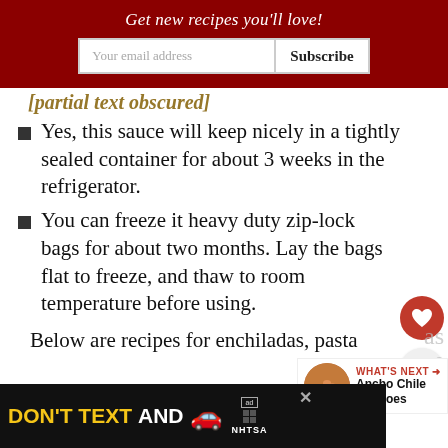Get new recipes you'll love!
[partial italic text partially visible]
Yes, this sauce will keep nicely in a tightly sealed container for about 3 weeks in the refrigerator.
You can freeze it heavy duty zip-lock bags for about two months. Lay the bags flat to freeze, and thaw to room temperature before using.
Below are recipes for enchiladas, pasta
[Figure (other): Advertisement banner: DON'T TEXT AND [drive] - NHTSA ad with car graphic]